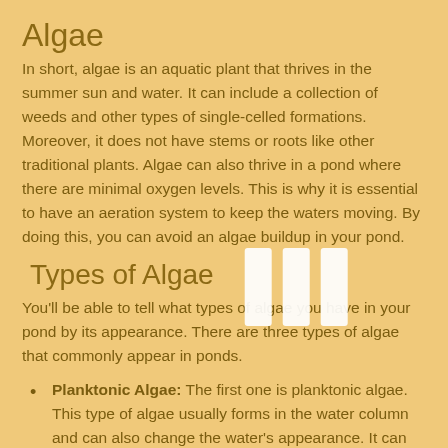Algae
In short, algae is an aquatic plant that thrives in the summer sun and water. It can include a collection of weeds and other types of single-celled formations. Moreover, it does not have stems or roots like other traditional plants. Algae can also thrive in a pond where there are minimal oxygen levels. This is why it is essential to have an aeration system to keep the waters moving. By doing this, you can avoid an algae buildup in your pond.
Types of Algae
You'll be able to tell what types of algae you have in your pond by its appearance. There are three types of algae that commonly appear in ponds.
Planktonic Algae: The first one is planktonic algae. This type of algae usually forms in the water column and can also change the water's appearance. It can turn your water different shades, including green, bluish-green, or